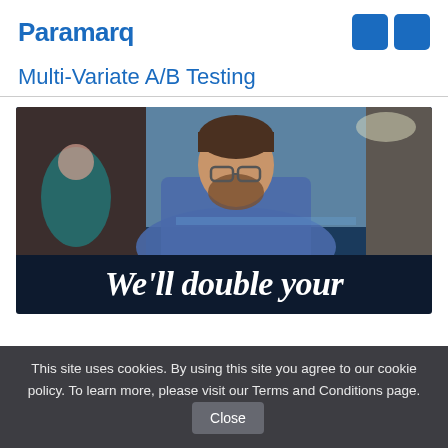Paramarq
Multi-Variate A/B Testing
[Figure (screenshot): Screenshot of Paramarq website showing a banner image with a man working at a computer in an office setting, dark navy background with white serif italic text 'We'll double your']
This site uses cookies. By using this site you agree to our cookie policy. To learn more, please visit our Terms and Conditions page.